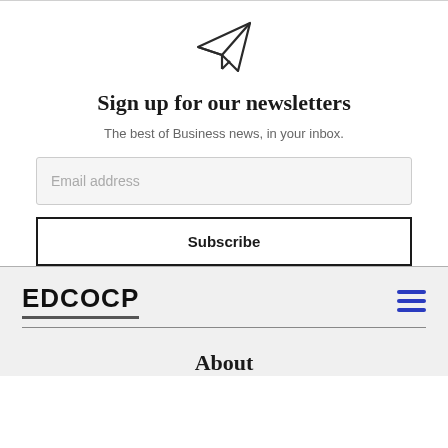[Figure (illustration): Paper airplane / send icon]
Sign up for our newsletters
The best of Business news, in your inbox.
Email address
Subscribe
[Figure (logo): EDCOCP logo text with underline]
[Figure (illustration): Hamburger menu icon (three blue lines)]
About